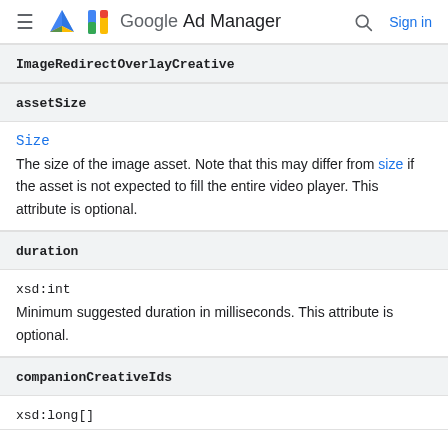Google Ad Manager
| ImageRedirectOverlayCreative |
| assetSize |
| Size | The size of the image asset. Note that this may differ from size if the asset is not expected to fill the entire video player. This attribute is optional. |
| duration |
| xsd:int | Minimum suggested duration in milliseconds. This attribute is optional. |
| companionCreativeIds |
| xsd:long[] |